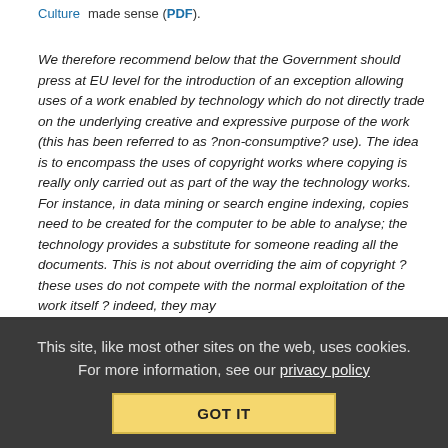Culture   made sense (PDF).
We therefore recommend below that the Government should press at EU level for the introduction of an exception allowing uses of a work enabled by technology which do not directly trade on the underlying creative and expressive purpose of the work (this has been referred to as ?non-consumptive? use). The idea is to encompass the uses of copyright works where copying is really only carried out as part of the way the technology works. For instance, in data mining or search engine indexing, copies need to be created for the computer to be able to analyse; the technology provides a substitute for someone reading all the documents. This is not about overriding the aim of copyright ? these uses do not compete with the normal exploitation of the work itself ? indeed, they may
This site, like most other sites on the web, uses cookies. For more information, see our privacy policy
GOT IT